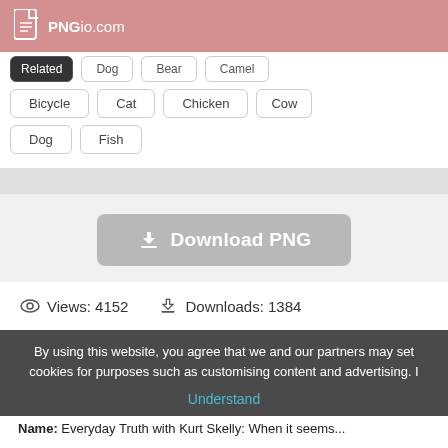PNGio.com
Bicycle  Cat  Chicken  Cow
Dog  Fish
[Figure (other): Download PNG button with download icon]
Views: 4152    Downloads: 1384
By using this website, you agree that we and our partners may set cookies for purposes such as customising content and advertising. I
Understand
Name:  Everyday Truth with Kurt Skelly: When it seems...